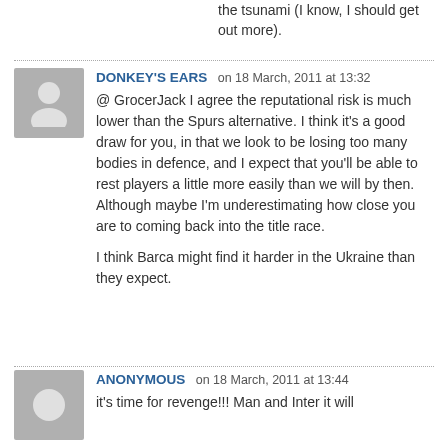the tsunami (I know, I should get out more).
DONKEY'S EARS on 18 March, 2011 at 13:32
@ GrocerJack I agree the reputational risk is much lower than the Spurs alternative. I think it's a good draw for you, in that we look to be losing too many bodies in defence, and I expect that you'll be able to rest players a little more easily than we will by then. Although maybe I'm underestimating how close you are to coming back into the title race.

I think Barca might find it harder in the Ukraine than they expect.
ANONYMOUS on 18 March, 2011 at 13:44
it's time for revenge!!! Man and Inter it will